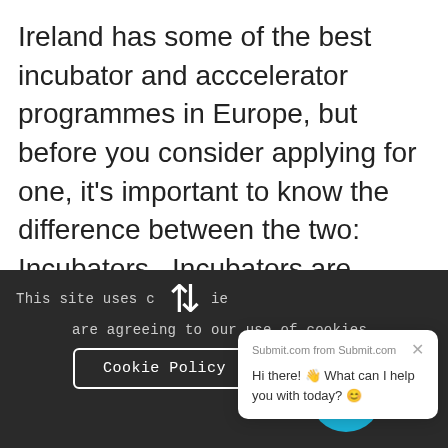Ireland has some of the best incubator and acccelerator programmes in Europe, but before you consider applying for one, it's important to know the difference between the two: Incubators  Incubators are generally for new companies…
0 Comments  /  October 1, 2020
[Figure (screenshot): Partial photo of a blue sky or surface, partially obscured by overlaid UI elements]
[Figure (screenshot): Submit.com chat popup: 'Submit.com from Submit.com' header with close X button, body text 'Hi there! 👋 What can I help you with today? 😊']
This site uses cookies  are agreeing to our use of cookies.
Cookie Policy   Ok